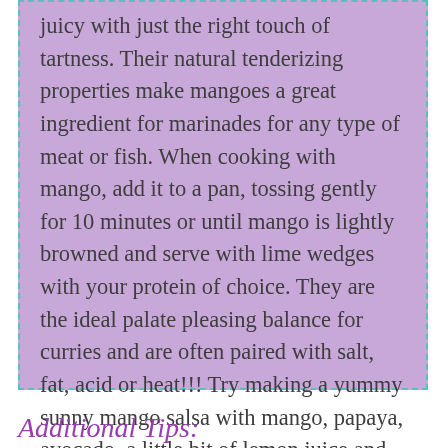juicy with just the right touch of tartness. Their natural tenderizing properties make mangoes a great ingredient for marinades for any type of meat or fish. When cooking with mango, add it to a pan, tossing gently for 10 minutes or until mango is lightly browned and serve with lime wedges with your protein of choice. They are the ideal palate pleasing balance for curries and are often paired with salt, fat, acid or heat!!! Try making a yummy sunny mango salsa with mango, papaya, avocado, a little bit of lemon juice and cilantro. You won't believe how it elevates your fish, tacos or anything that comes off the BBQ!
Additional Tips: